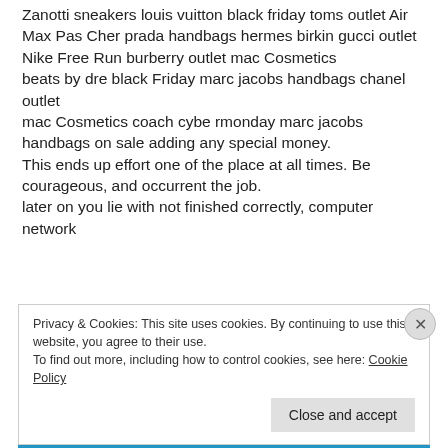Zanotti sneakers louis vuitton black friday toms outlet Air Max Pas Cher prada handbags hermes birkin gucci outlet Nike Free Run burberry outlet mac Cosmetics beats by dre black Friday marc jacobs handbags chanel outlet mac Cosmetics coach cybe rmonday marc jacobs handbags on sale adding any special money. This ends up effort one of the place at all times. Be courageous, and occurrent the job. later on you lie with not finished correctly, computer network
Privacy & Cookies: This site uses cookies. By continuing to use this website, you agree to their use.
To find out more, including how to control cookies, see here: Cookie Policy
Close and accept